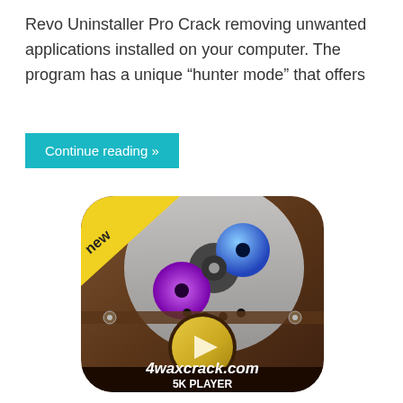Revo Uninstaller Pro Crack removing unwanted applications installed on your computer. The program has a unique “hunter mode” that offers
Continue reading »
[Figure (logo): 5K Player app icon with film reel showing purple and blue reels, a gold play button at the bottom, a yellow 'new' badge in the top-left corner, and text '4waxcrack.com' and '5K PLAYER' at the bottom on a brown metallic background.]